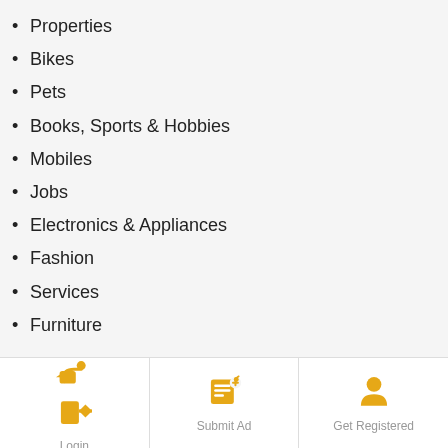Properties
Bikes
Pets
Books, Sports & Hobbies
Mobiles
Jobs
Electronics & Appliances
Fashion
Services
Furniture
QUICK LINK
About Us
FAQs
Login | Submit Ad | Get Registered